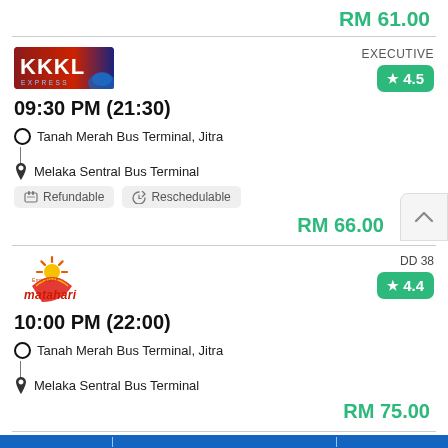RM 61.00
[Figure (logo): KKKL Express bus company logo]
EXECUTIVE
09:30 PM (21:30)
4.5
Tanah Merah Bus Terminal, Jitra
Melaka Sentral Bus Terminal
Refundable
Reschedulable
RM 66.00
[Figure (logo): Matahari bus company logo with sun graphic]
DD 38
10:00 PM (22:00)
4.4
Tanah Merah Bus Terminal, Jitra
Melaka Sentral Bus Terminal
RM 75.00